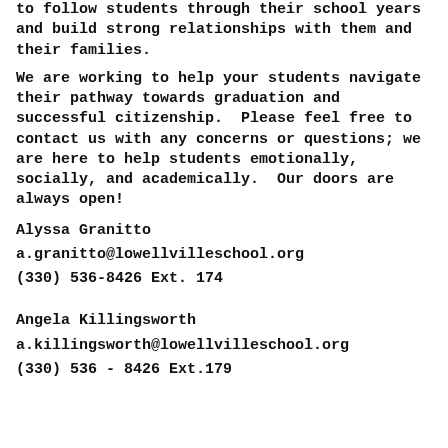to follow students through their school years and build strong relationships with them and their families.
We are working to help your students navigate their pathway towards graduation and successful citizenship.  Please feel free to contact us with any concerns or questions; we are here to help students emotionally, socially, and academically.  Our doors are always open!
Alyssa Granitto
a.granitto@lowellvilleschool.org
(330) 536-8426 Ext. 174
Angela Killingsworth
a.killingsworth@lowellvilleschool.org
(330) 536 - 8426 Ext.179